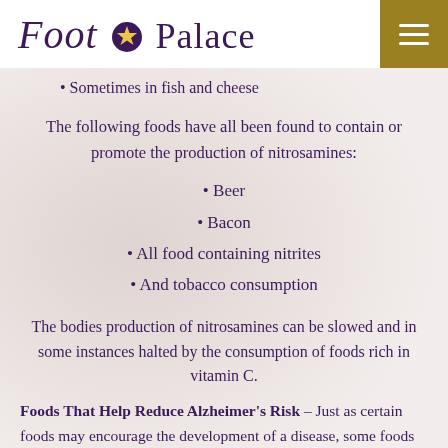Foot Palace
Sometimes in fish and cheese
The following foods have all been found to contain or promote the production of nitrosamines:
Beer
Bacon
All food containing nitrites
And tobacco consumption
The bodies production of nitrosamines can be slowed and in some instances halted by the consumption of foods rich in vitamin C.
Foods That Help Reduce Alzheimer's Risk – Just as certain foods may encourage the development of a disease, some foods assist the body in its prevention of the disease. The following are foods that reduce the risk of Alzheimer's